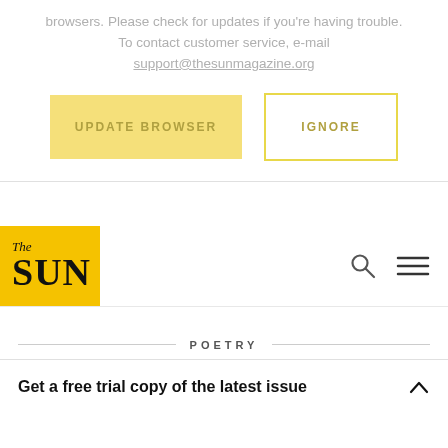browsers. Please check for updates if you're having trouble. To contact customer service, e-mail support@thesunmagazine.org
[Figure (screenshot): Two buttons: 'UPDATE BROWSER' (yellow filled) and 'IGNORE' (white with yellow border)]
[Figure (logo): The Sun magazine logo: yellow box with 'The' in italic and 'SUN' in bold serif, with search and hamburger menu icons]
POETRY
Get a free trial copy of the latest issue